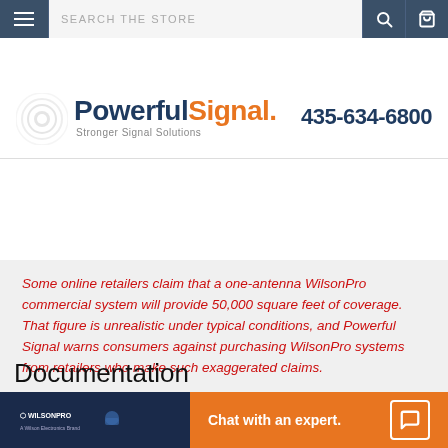SEARCH THE STORE
[Figure (logo): PowerfulSignal logo with signal wave icon and tagline 'Stronger Signal Solutions']
Some online retailers claim that a one-antenna WilsonPro commercial system will provide 50,000 square feet of coverage. That figure is unrealistic under typical conditions, and Powerful Signal warns consumers against purchasing WilsonPro systems from retailers who make such exaggerated claims.
Documentation
[Figure (screenshot): WilsonPro product image and orange chat banner reading 'Chat with an expert.']